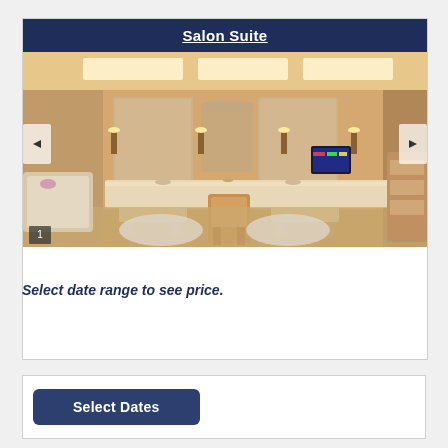Salon Suite
[Figure (photo): Luxury hotel bathroom interior showing a large vanity counter with mirrors, wall sconces, a central chair, two bench seats, and a bathtub. Warm amber lighting and marble surfaces.]
Select date range to see price.
Select Dates